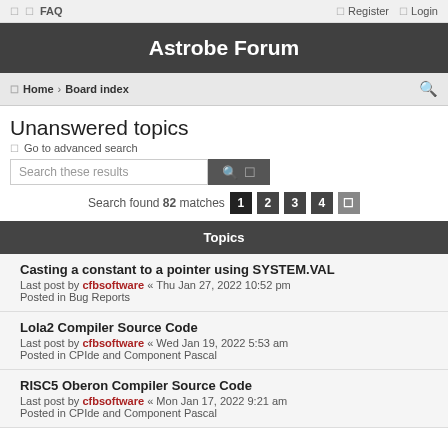FAQ  Register  Login
Astrobe Forum
Home › Board index
Unanswered topics
Go to advanced search
Search these results
Search found 82 matches  1 2 3 4 »
Topics
Casting a constant to a pointer using SYSTEM.VAL
Last post by cfbsoftware « Thu Jan 27, 2022 10:52 pm
Posted in Bug Reports
Lola2 Compiler Source Code
Last post by cfbsoftware « Wed Jan 19, 2022 5:53 am
Posted in CPIde and Component Pascal
RISC5 Oberon Compiler Source Code
Last post by cfbsoftware « Mon Jan 17, 2022 9:21 am
Posted in CPIde and Component Pascal